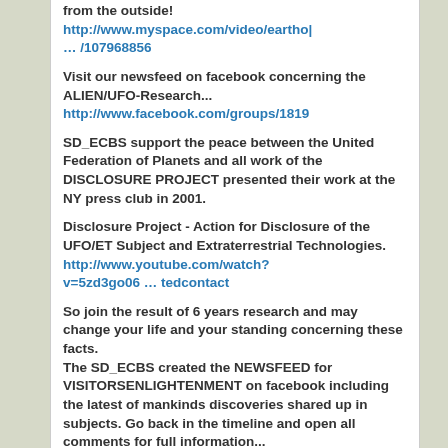from the outside! http://www.myspace.com/video/eartho| … /107968856
Visit our newsfeed on facebook concerning the ALIEN/UFO-Research... http://www.facebook.com/groups/1819
SD_ECBS support the peace between the United Federation of Planets and all work of the DISCLOSURE PROJECT presented their work at the NY press club in 2001.
Disclosure Project - Action for Disclosure of the UFO/ET Subject and Extraterrestrial Technologies. http://www.youtube.com/watch?v=5zd3go06 … tedcontact
So join the result of 6 years research and may change your life and your standing concerning these facts. The SD_ECBS created the NEWSFEED for VISITORSENLIGHTENMENT on facebook including the latest of mankinds discoveries shared up in subjects. Go back in the timeline and open all comments for full information...